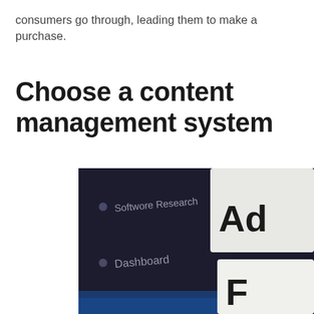consumers go through, leading them to make a purchase.
Choose a content management system
[Figure (screenshot): A blurred screenshot of a content management system dashboard interface with dark background showing menu items including 'Software Research' and 'Dashboard', with a partially visible white card showing text 'Ad' and 'F']